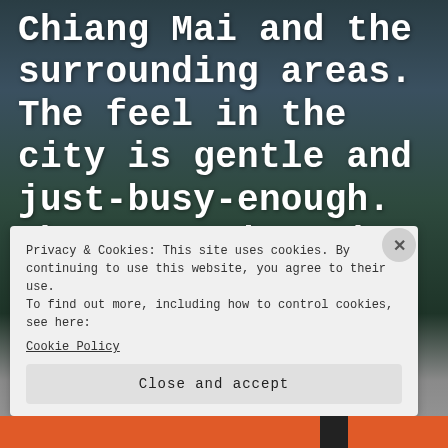Chiang Mai and the surrounding areas. The feel in the city is gentle and just-busy-enough. The mountains rise in the distance...
[Figure (other): A Read More button with rounded pill shape on a mist-covered mountain/jungle background]
READ MORE →
Privacy & Cookies: This site uses cookies. By continuing to use this website, you agree to their use.
To find out more, including how to control cookies, see here:
Cookie Policy
Close and accept